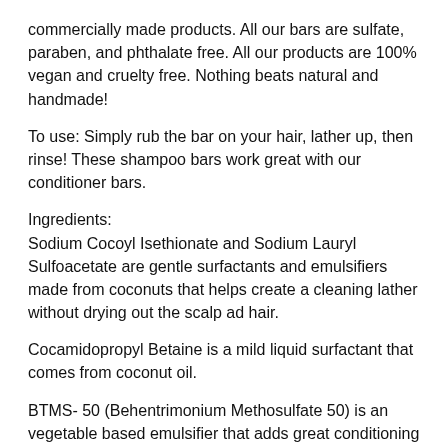commercially made products. All our bars are sulfate, paraben, and phthalate free. All our products are 100% vegan and cruelty free. Nothing beats natural and handmade!
To use: Simply rub the bar on your hair, lather up, then rinse! These shampoo bars work great with our conditioner bars.
Ingredients:
Sodium Cocoyl Isethionate and Sodium Lauryl Sulfoacetate are gentle surfactants and emulsifiers made from coconuts that helps create a cleaning lather without drying out the scalp ad hair.
Cocamidopropyl Betaine is a mild liquid surfactant that comes from coconut oil.
BTMS- 50 (Behentrimonium Methosulfate 50) is an vegetable based emulsifier that adds great conditioning and smoothing properties for both the skin and hair.
Cetyl alcohol is a vegetable based emulsifier that helps to bind